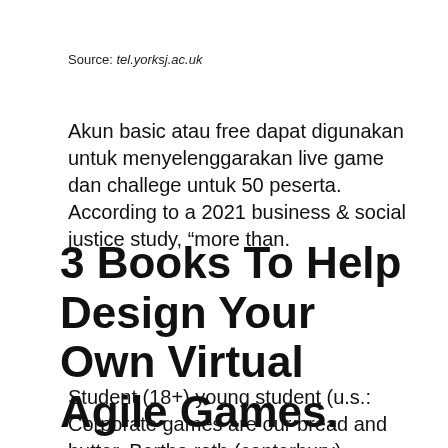Source: tel.yorksj.ac.uk
Akun basic atau free dapat digunakan untuk menyelenggarakan live game dan challege untuk 50 peserta. According to a 2021 business & social justice study, “more than.
3 Books To Help Design Your Own Virtual Agile Games.
Student (18+) young student (u.s.: Corporate games are our bread and butter. Bertha roth (canterbury) presents learning games similar to kahoot purchase.